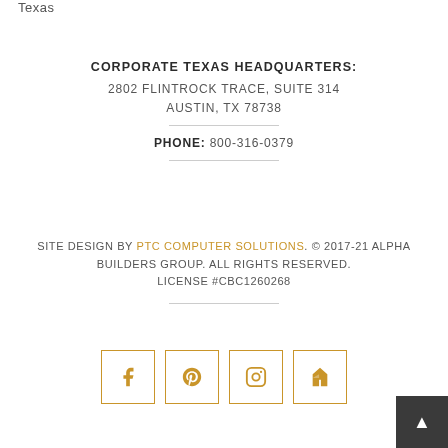Texas
CORPORATE TEXAS HEADQUARTERS:
2802 FLINTROCK TRACE, SUITE 314
AUSTIN, TX 78738
PHONE: 800-316-0379
SITE DESIGN BY PTC COMPUTER SOLUTIONS. © 2017-21 ALPHA BUILDERS GROUP. ALL RIGHTS RESERVED. LICENSE #CBC1260268
[Figure (other): Social media icons row: Facebook, Pinterest, Instagram, Houzz — each in a gold square border]